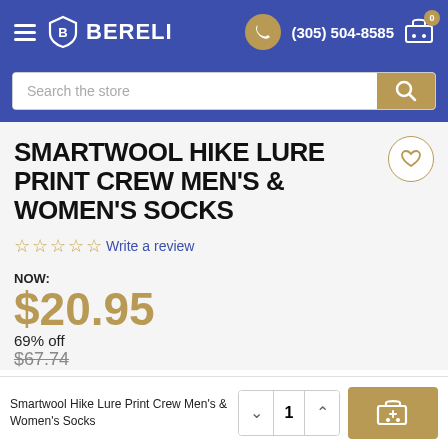BERELI | (305) 504-8585
[Figure (screenshot): Search bar with placeholder text 'Search the store' and a gold search button]
SMARTWOOL HIKE LURE PRINT CREW MEN'S & WOMEN'S SOCKS
☆☆☆☆☆ Write a review
NOW: $20.95 69% off $67.74
Smartwool Hike Lure Print Crew Men's & Women's Socks  1  [Add to Cart]